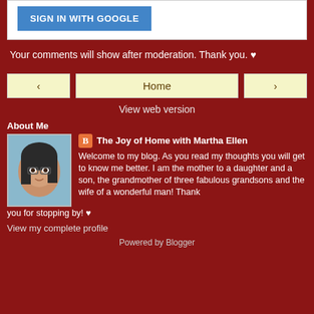[Figure (screenshot): Sign in with Google button on white background]
Your comments will show after moderation. Thank you. ♥
[Figure (screenshot): Navigation buttons: left arrow, Home, right arrow]
View web version
About Me
[Figure (photo): Profile photo of Martha Ellen, a woman with dark hair and glasses]
The Joy of Home with Martha Ellen
Welcome to my blog. As you read my thoughts you will get to know me better. I am the mother to a daughter and a son, the grandmother of three fabulous grandsons and the wife of a wonderful man! Thank you for stopping by! ♥
View my complete profile
Powered by Blogger